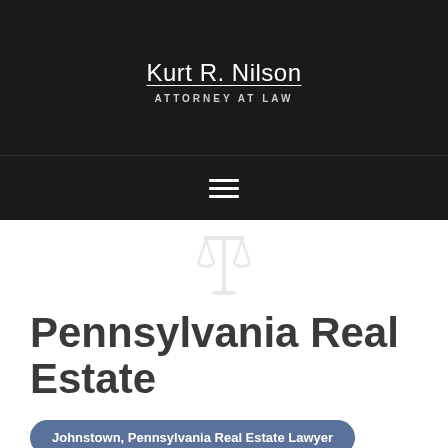Kurt R. Nilson ATTORNEY AT LAW
[Figure (illustration): Faint gavel or scales of justice icon in light gray]
Pennsylvania Real Estate
Johnstown, Pennsylvania Real Estate Lawyer
Whether you're buying a house, selling property, or